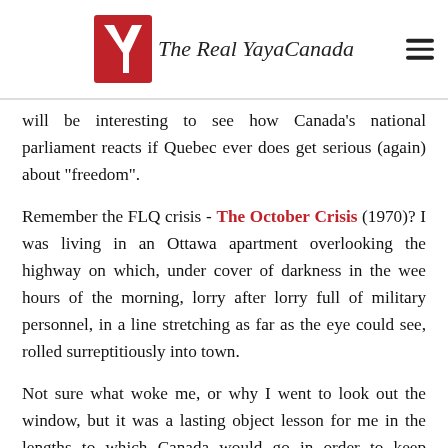The Real YayaCanada
will be interesting to see how Canada's national parliament reacts if Quebec ever does get serious (again) about "freedom".
Remember the FLQ crisis - The October Crisis (1970)? I was living in an Ottawa apartment overlooking the highway on which, under cover of darkness in the wee hours of the morning, lorry after lorry full of military personnel, in a line stretching as far as the eye could see, rolled surreptitiously into town.
Not sure what woke me, or why I went to look out the window, but it was a lasting object lesson for me in the lengths to which Canada would go in order to keep Quebec its prisoner. Some members of the FLQ decided to show some politicos what it felt like to be a prisoner.